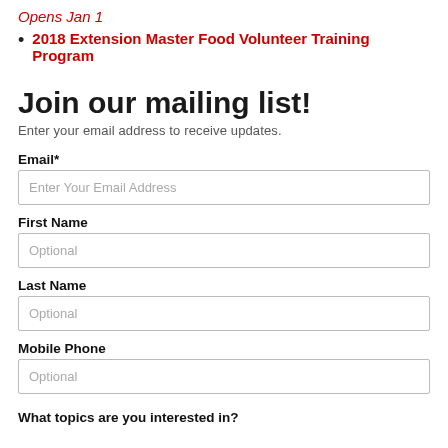Opens Jan 1
2018 Extension Master Food Volunteer Training Program
Join our mailing list!
Enter your email address to receive updates.
Email*
Enter Your Email Address
First Name
Optional
Last Name
Optional
Mobile Phone
Optional
What topics are you interested in?